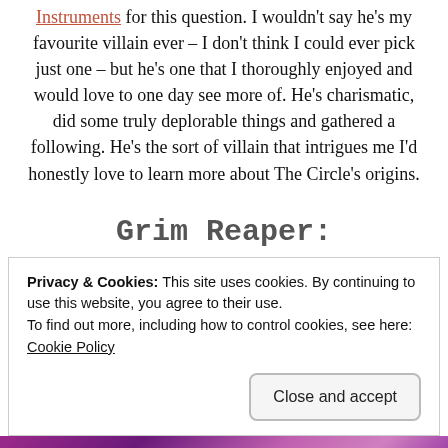Instruments for this question. I wouldn't say he's my favourite villain ever – I don't think I could ever pick just one – but he's one that I thoroughly enjoyed and would love to one day see more of. He's charismatic, did some truly deplorable things and gathered a following. He's the sort of villain that intrigues me I'd honestly love to learn more about The Circle's origins.
Grim Reaper:
Privacy & Cookies: This site uses cookies. By continuing to use this website, you agree to their use.
To find out more, including how to control cookies, see here: Cookie Policy
Close and accept
[Figure (photo): Colorful purple and pink image strip at the bottom of the page]